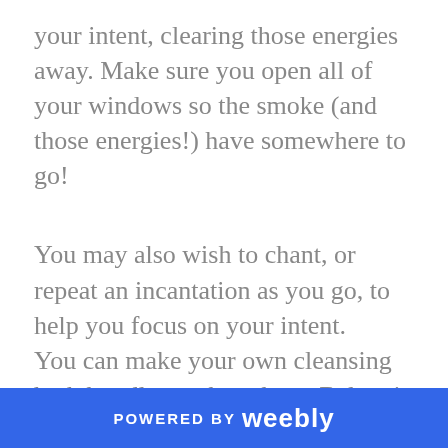your intent, clearing those energies away. Make sure you open all of your windows so the smoke (and those energies!) have somewhere to go!
You may also wish to chant, or repeat an incantation as you go, to help you focus on your intent.
You can make your own cleansing herb bundles, or buy them. Below is more info on how to make them if you want to give it a go. I can't seem to find any instructions which don't refer to them as ‘smudge sticks’ and this website definitely misses out any cultural
POWERED BY weebly